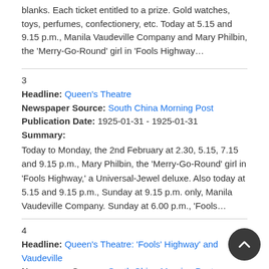blanks. Each ticket entitled to a prize. Gold watches, toys, perfumes, confectionery, etc. Today at 5.15 and 9.15 p.m., Manila Vaudeville Company and Mary Philbin, the 'Merry-Go-Round' girl in 'Fools Highway…
3
Headline: Queen's Theatre
Newspaper Source: South China Morning Post
Publication Date: 1925-01-31 - 1925-01-31
Summary:
Today to Monday, the 2nd February at 2.30, 5.15, 7.15 and 9.15 p.m., Mary Philbin, the 'Merry-Go-Round' girl in 'Fools Highway,' a Universal-Jewel deluxe. Also today at 5.15 and 9.15 p.m., Sunday at 9.15 p.m. only, Manila Vaudeville Company. Sunday at 6.00 p.m., 'Fools…
4
Headline: Queen's Theatre: 'Fools' Highway' and Vaudeville
Newspaper Source: South China Morning Post
Publication Date: 1925-01-30
Summary: